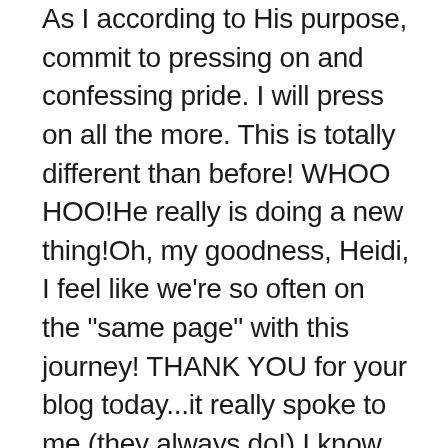As I according to His purpose, commit to pressing on and confessing pride. I will press on all the more. This is totally different than before! WHOO HOO!He really is doing a new thing!Oh, my goodness, Heidi, I feel like we're so often on the "same page" with this journey! THANK YOU for your blog today...it really spoke to me (they always do!) I know exactly what you're talking about. Now that I'm stringing together quite a few obedient moments I, too, have the tendency to just stop being obedient rather than rebuking pride. THANK YOU, THANK YOU for wording it this way. Got